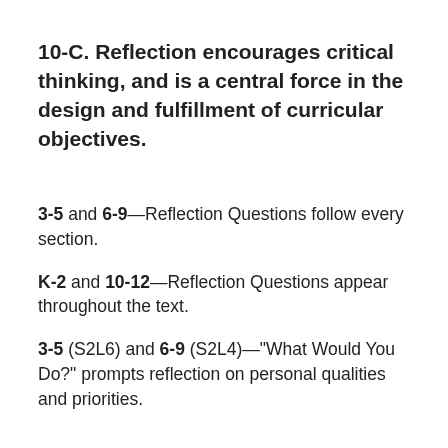10-C. Reflection encourages critical thinking, and is a central force in the design and fulfillment of curricular objectives.
3-5 and 6-9—Reflection Questions follow every section.
K-2 and 10-12—Reflection Questions appear throughout the text.
3-5 (S2L6) and 6-9 (S2L4)—"What Would You Do?" prompts reflection on personal qualities and priorities.